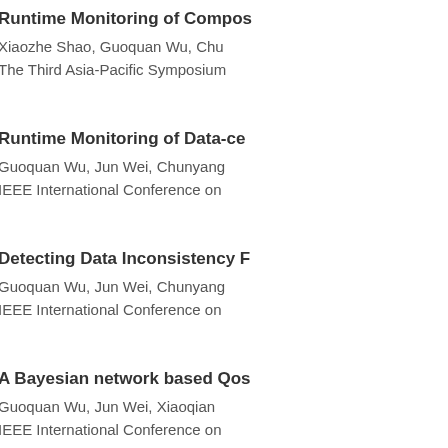Runtime Monitoring of Compos...
Xiaozhe Shao, Guoquan Wu, Chu...
The Third Asia-Pacific Symposium...
Runtime Monitoring of Data-ce...
Guoquan Wu, Jun Wei, Chunyang...
IEEE International Conference on...
Detecting Data Inconsistency F...
Guoquan Wu, Jun Wei, Chunyang...
IEEE International Conference on...
A Bayesian network based Qos...
Guoquan Wu, Jun Wei, Xiaoqian...
IEEE International Conference on...
Flexible pattern monitoring for...
Guoquan Wu, Jun Wei, Tao Huan...
IEEE International Conference on...
Runtime monitoring composite...
Tao Huang, Guoquan Wu, Jun We...
Journal of Computer Science and...